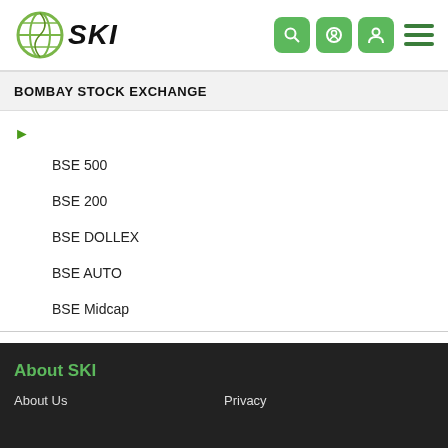[Figure (logo): SKI logo with globe icon and italic bold text SKI]
BOMBAY STOCK EXCHANGE
BSE 500
BSE 200
BSE DOLLEX
BSE AUTO
BSE Midcap
About SKI
About Us    Privacy